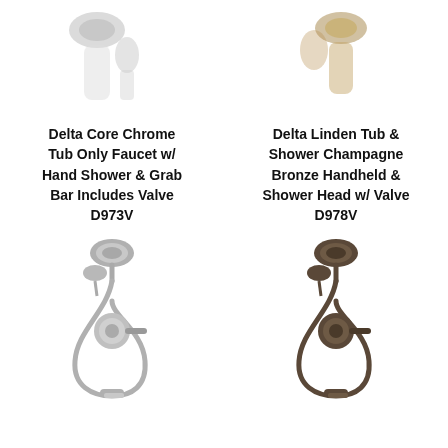[Figure (photo): Top partial view of Delta Core Chrome Tub faucet product, cropped at top]
[Figure (photo): Top partial view of Delta Linden Tub & Shower Champagne Bronze product, cropped at top]
Delta Core Chrome Tub Only Faucet w/ Hand Shower & Grab Bar Includes Valve D973V
Delta Linden Tub & Shower Champagne Bronze Handheld & Shower Head w/ Valve D978V
[Figure (photo): Delta Core Chrome tub and shower faucet set with handheld shower head, hose, and tub spout in chrome finish]
[Figure (photo): Delta Linden tub and shower faucet set with handheld shower head, hose, and tub spout in dark bronze/champagne bronze finish]